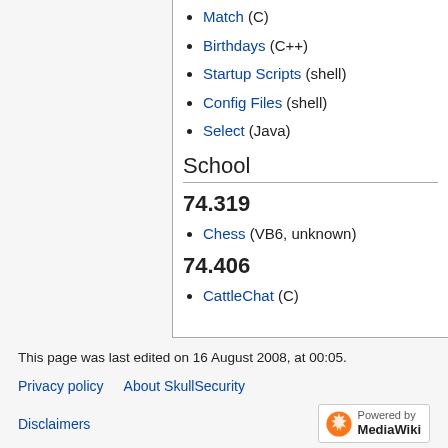Match (C)
Birthdays (C++)
Startup Scripts (shell)
Config Files (shell)
Select (Java)
School
74.319
Chess (VB6, unknown)
74.406
CattleChat (C)
This page was last edited on 16 August 2008, at 00:05.
Privacy policy   About SkullSecurity
Disclaimers